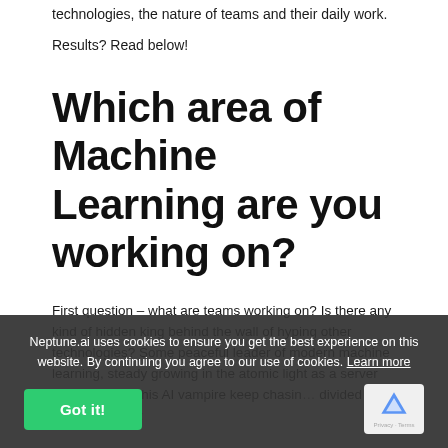technologies, the nature of teams and their daily work.
Results? Read below!
Which area of Machine Learning are you working on?
First question – what are teams working on? Is there any kind of hidden king behind the wall of hyping other technologies? Some peaceful leader of modern machine learning, steady growing in the atomic light as a server told you while this AI vampire keep chasin…
…divided the categories into:
Neptune.ai uses cookies to ensure you get the best experience on this website. By continuing you agree to our use of cookies. Learn more